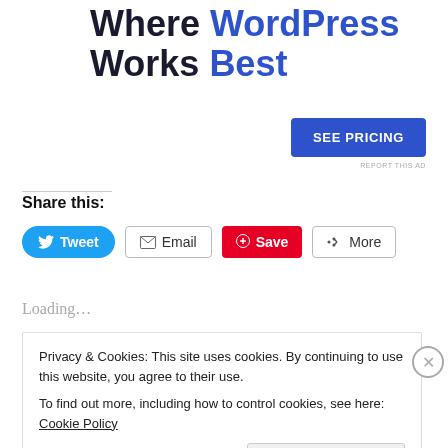The Platform Where WordPress Works Best
SEE PRICING
REPORT THIS AD
Share this:
Tweet  Email  Save  More
Loading...
Privacy & Cookies: This site uses cookies. By continuing to use this website, you agree to their use.
To find out more, including how to control cookies, see here: Cookie Policy
Close and accept